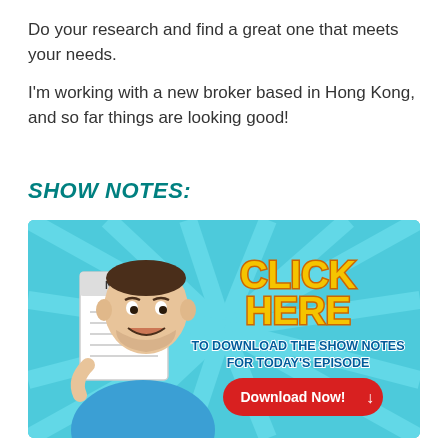Do your research and find a great one that meets your needs.
I'm working with a new broker based in Hong Kong, and so far things are looking good!
SHOW NOTES:
[Figure (illustration): Comic-style promotional banner with a cartoon man holding a 'NOTES' notepad, teal/cyan radial burst background, text 'CLICK HERE TO DOWNLOAD THE SHOW NOTES FOR TODAY'S EPISODE' in comic font, and a red 'Download Now!' button with a down arrow.]